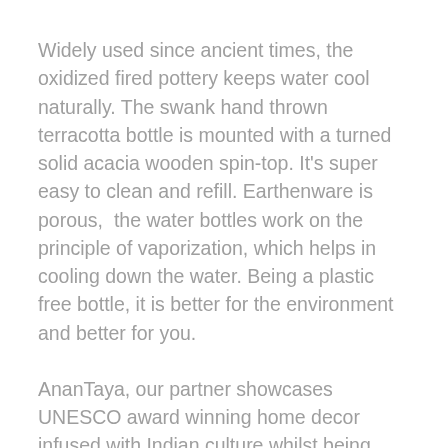Widely used since ancient times, the oxidized fired pottery keeps water cool naturally. The swank hand thrown terracotta bottle is mounted with a turned solid acacia wooden spin-top. It's super easy to clean and refill. Earthenware is porous,  the water bottles work on the principle of vaporization, which helps in cooling down the water. Being a plastic free bottle, it is better for the environment and better for you.
AnanTaya, our partner showcases UNESCO award winning home decor infused with Indian culture whilst being designed for a contemporary international lifestyle.
Use & Care: We recommend standing the bottle on a coaster, to collect water that can seep out of tiny